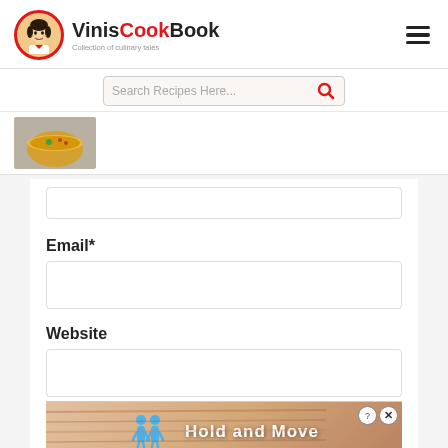VinisCookBook — Collection of culinary tales
Search Recipes Here...
[Figure (screenshot): Partial food thumbnail image showing a dish]
Email*
Website
[Figure (infographic): Advertisement banner showing blue figures with text 'Hold and Move']
C